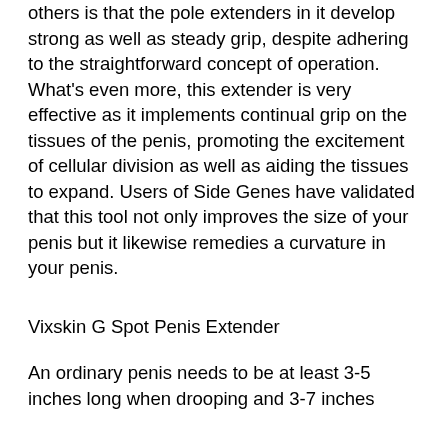What collections this extender abide from others is that the pole extenders in it develop strong as well as steady grip, despite adhering to the straightforward concept of operation. What's even more, this extender is very effective as it implements continual grip on the tissues of the penis, promoting the excitement of cellular division as well as aiding the tissues to expand. Users of Side Genes have validated that this tool not only improves the size of your penis but it likewise remedies a curvature in your penis.
Vixskin G Spot Penis Extender
An ordinary penis needs to be at least 3-5 inches long when drooping and 3-7 inches